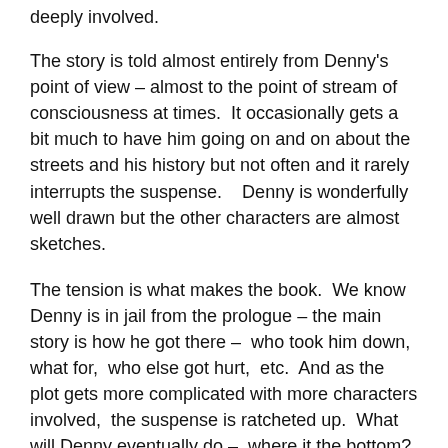deeply involved.
The story is told almost entirely from Denny's point of view – almost to the point of stream of consciousness at times.  It occasionally gets a bit much to have him going on and on about the streets and his history but not often and it rarely interrupts the suspense.   Denny is wonderfully well drawn but the other characters are almost sketches.
The tension is what makes the book.  We know Denny is in jail from the prologue – the main story is how he got there –  who took him down,  what for,  who else got hurt,  etc.  And as the plot gets more complicated with more characters involved,  the suspense is ratcheted up.  What will Denny eventually do –  where it the bottom?  What motivates good cops going bad is the main idea/theme I suppose.  It works.